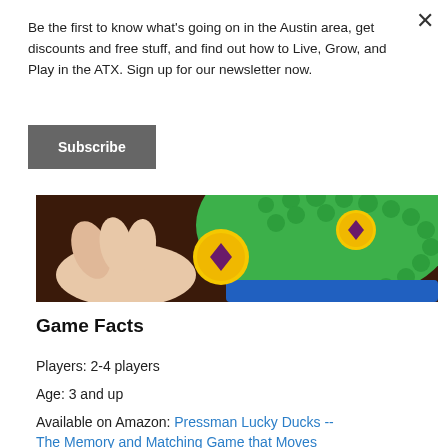Be the first to know what's going on in the Austin area, get discounts and free stuff, and find out how to Live, Grow, and Play in the ATX. Sign up for our newsletter now.
Subscribe
[Figure (photo): A hand holding a yellow coin/token with a purple diamond symbol, next to a green bumpy toy duck surface and blue base, on a dark brown wooden surface.]
Game Facts
Players: 2-4 players
Age: 3 and up
Available on Amazon: Pressman Lucky Ducks -- The Memory and Matching Game that Moves